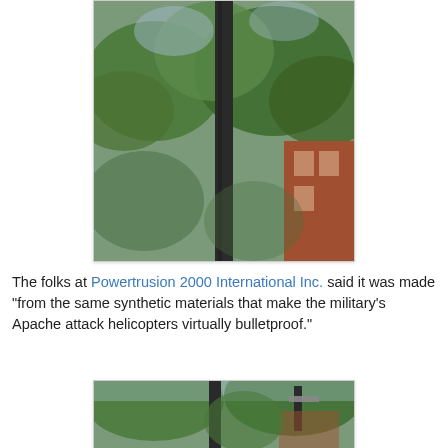[Figure (photo): Upward-looking photo of a dark vertical pole or pillar with green trees and a red brick building in the background]
The folks at Powertrusion 2000 International Inc. said it was made "from the same synthetic materials that make the military's Apache attack helicopters virtually bulletproof."
[Figure (photo): Photo showing two dark vertical poles or pillars among green trees, with buildings visible in the background]